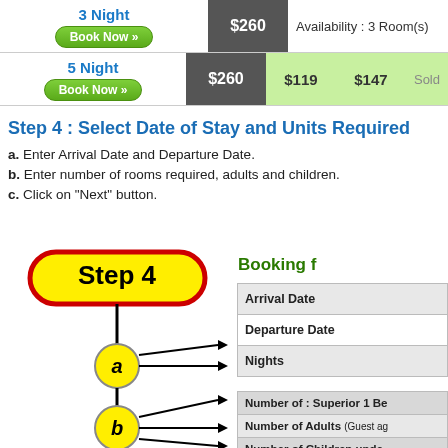| 3 Night / Book Now | $260 | Availability : 3 Room(s) |
| 5 Night / Book Now | $260 | $119 | $147 | Sold |
Step 4 : Select Date of Stay and Units Required
a. Enter Arrival Date and Departure Date.
b. Enter number of rooms required, adults and children.
c. Click on "Next" button.
[Figure (flowchart): Step 4 flowchart diagram showing Step 4 label (yellow pill with red border) connecting down to circle 'a' which has two arrows pointing right to Arrival Date and Departure Date fields, then down to circle 'b' which has three arrows pointing to Number of Superior 1 Bedroom, Number of Adults, and Number of Children fields.]
Booking f
| Arrival Date |
| Departure Date |
| Nights |
| Number of : Superior 1 Be |
| Number of Adults (Guest ag |
| Number of Children unde |